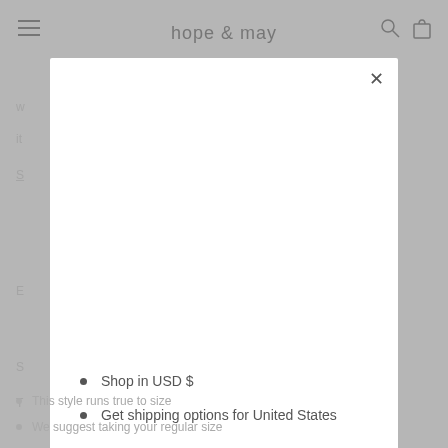hope & may
[Figure (screenshot): Modal dialog overlay on e-commerce website showing shopping options]
Shop in USD $
Get shipping options for United States
Shop now
Change shipping country
This style runs true to size
We suggest taking your regular size